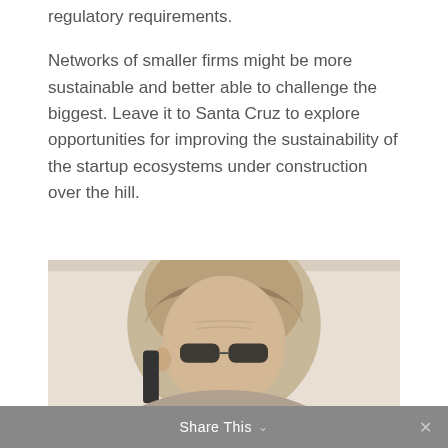regulatory requirements.

Networks of smaller firms might be more sustainable and better able to challenge the biggest. Leave it to Santa Cruz to explore opportunities for improving the sustainability of the startup ecosystems under construction over the hill.
[Figure (photo): Sepia-toned circular portrait photograph of a person with blonde/grey hair wearing sunglasses, cropped to show head and partial shoulders against a light grey background.]
Share This ∨  ✕